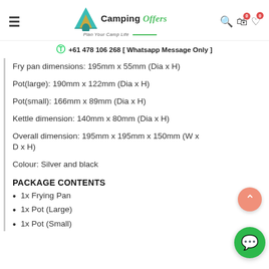Camping Offers - Plan Your Camp Life | +61 478 106 268 [ Whatsapp Message Only ]
Fry pan dimensions: 195mm x 55mm (Dia x H)
Pot(large): 190mm x 122mm (Dia x H)
Pot(small): 166mm x 89mm (Dia x H)
Kettle dimension: 140mm x 80mm (Dia x H)
Overall dimension: 195mm x 195mm x 150mm (W x D x H)
Colour: Silver and black
PACKAGE CONTENTS
1x Frying Pan
1x Pot (Large)
1x Pot (Small)